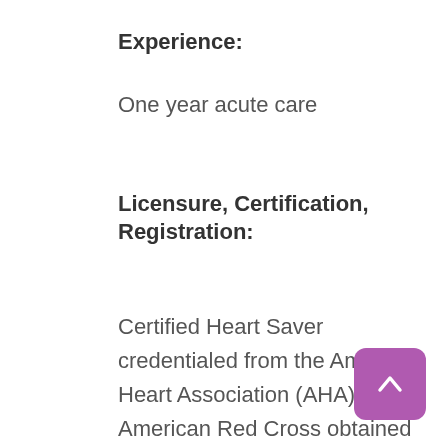Experience:
One year acute care
Licensure, Certification, Registration:
Certified Heart Saver credentialed from the American Heart Association (AHA) or the American Red Cross obtained within 60 days of hire date or